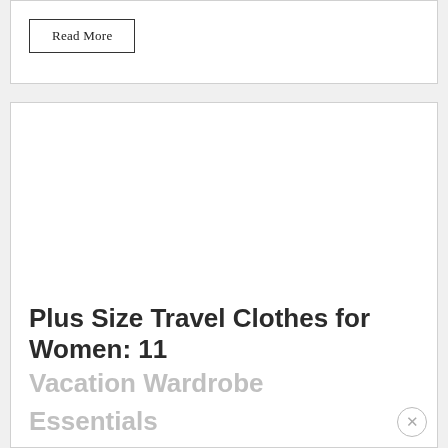Read More
[Figure (photo): White blank image placeholder for article thumbnail]
Plus Size Travel Clothes for Women: 11 Vacation Wardrobe Essentials